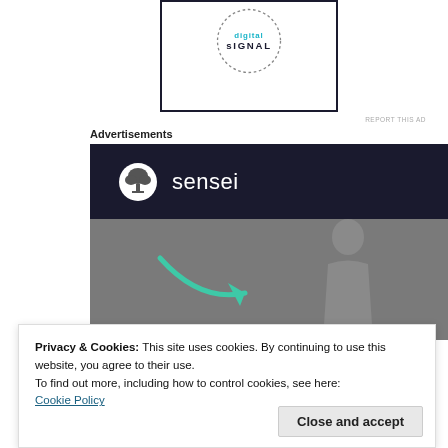[Figure (logo): Signal logo in a dotted circular border inside a dark-bordered white box]
REPORT THIS AD
Advertisements
[Figure (advertisement): Sensei advertisement with dark navy header showing sensei logo and name, and a grey image section with a teal arrow graphic]
Privacy & Cookies: This site uses cookies. By continuing to use this website, you agree to their use.
To find out more, including how to control cookies, see here:
Cookie Policy
Close and accept